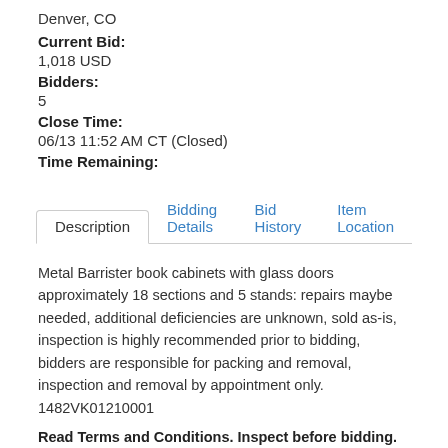Denver, CO
Current Bid:
1,018 USD
Bidders:
5
Close Time:
06/13 11:52 AM CT (Closed)
Time Remaining:
Description | Bidding Details | Bid History | Item Location
Metal Barrister book cabinets with glass doors approximately 18 sections and 5 stands: repairs maybe needed, additional deficiencies are unknown, sold as-is, inspection is highly recommended prior to bidding, bidders are responsible for packing and removal, inspection and removal by appointment only. 1482VK01210001
Read Terms and Conditions. Inspect before bidding. CONDITION IS NOT